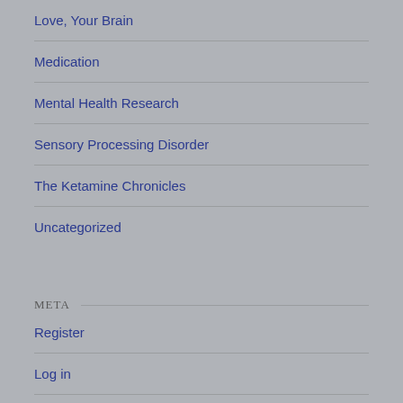Love, Your Brain
Medication
Mental Health Research
Sensory Processing Disorder
The Ketamine Chronicles
Uncategorized
META
Register
Log in
Entries feed